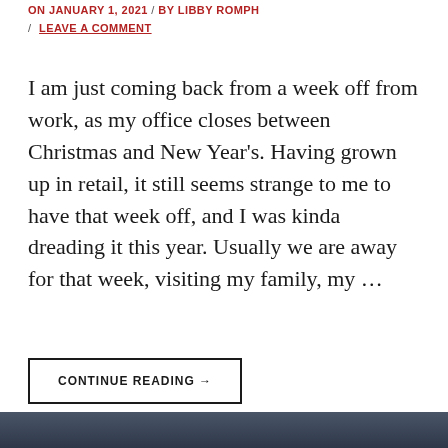ON JANUARY 1, 2021 / BY LIBBY ROMPH / LEAVE A COMMENT
I am just coming back from a week off from work, as my office closes between Christmas and New Year's. Having grown up in retail, it still seems strange to me to have that week off, and I was kinda dreading it this year. Usually we are away for that week, visiting my family, my …
CONTINUE READING →
[Figure (photo): Dark photographic image at the bottom of the page]